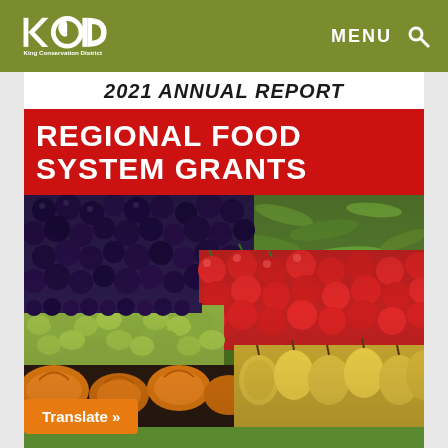King Conservation District | MENU [search icon]
2021 ANNUAL REPORT
REGIONAL FOOD SYSTEM GRANTS
[Figure (photo): Colorful array of fresh produce including dark berries/grapes, red cherry tomatoes, green cucumbers, green grapes, pumpkin/squash pieces, and yellow pears arranged in rows at a market display]
Translate »